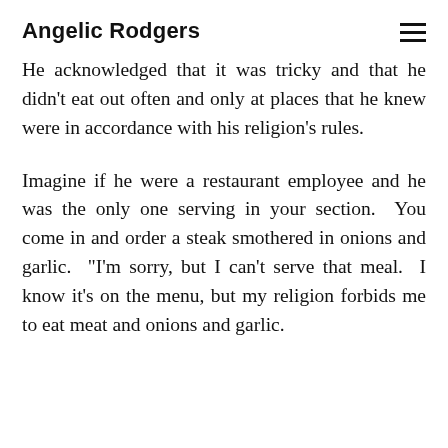Angelic Rodgers
He acknowledged that it was tricky and that he didn't eat out often and only at places that he knew were in accordance with his religion's rules.
Imagine if he were a restaurant employee and he was the only one serving in your section. You come in and order a steak smothered in onions and garlic. "I'm sorry, but I can't serve that meal. I know it's on the menu, but my religion forbids me to eat meat and onions and garlic.